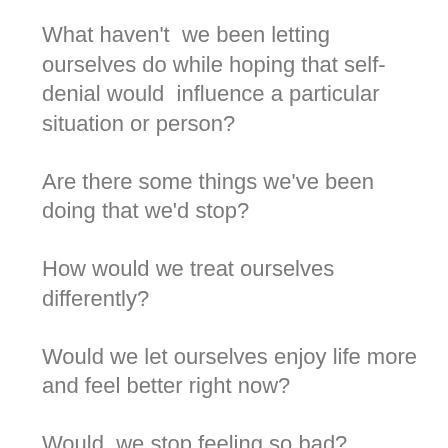What haven't  we been letting ourselves do while hoping that self-denial would  influence a particular situation or person?
Are there some things we've been doing that we'd stop?
How would we treat ourselves differently?
Would we let ourselves enjoy life more and feel better right now?
Would  we stop feeling so bad?